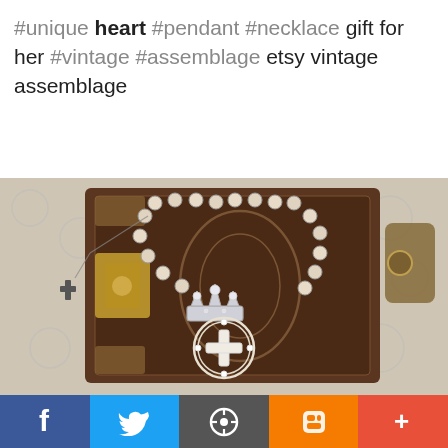#unique heart #pendant #necklace gift for her #vintage #assemblage etsy vintage assemblage
[Figure (photo): Vintage assemblage jewelry necklace with beads, crown pendant, and cross charm laid on top of an antique embossed leather-bound book on a white lace surface]
[Figure (infographic): Social media sharing bar with Facebook, Twitter, WordPress, Blogger, and plus/more buttons]